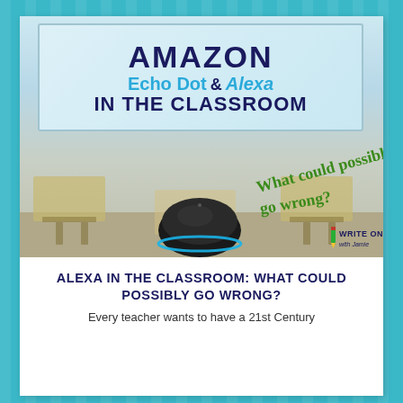[Figure (illustration): Book cover / blog post header image showing Amazon Echo Dot & Alexa in the Classroom. Features a classroom background with desks, a whiteboard, and an Amazon Echo Dot device in the foreground. Text overlays include 'AMAZON Echo Dot & Alexa IN THE CLASSROOM' on the whiteboard, and 'What could possibly go wrong?' in green handwritten style. Write On! with Jamie logo in bottom right corner.]
ALEXA IN THE CLASSROOM: WHAT COULD POSSIBLY GO WRONG?
Every teacher wants to have a 21st Century